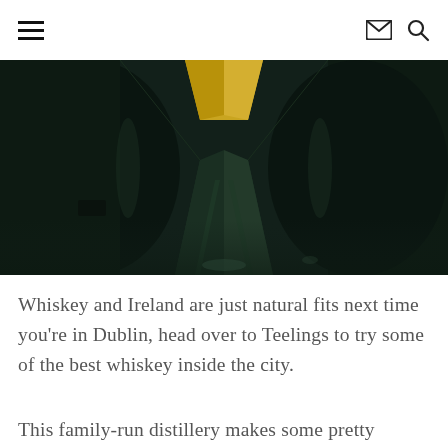≡  ✉ 🔍
[Figure (photo): Interior of Teelings whiskey distillery showing dark industrial space with large copper stills or barrels flanking a central corridor with wooden beam overhead, viewed from below]
Whiskey and Ireland are just natural fits next time you're in Dublin, head over to Teelings to try some of the best whiskey inside the city.
This family-run distillery makes some pretty